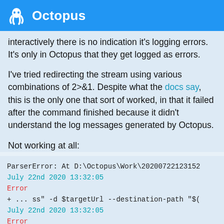Octopus
interactively there is no indication it's logging errors. It's only in Octopus that they get logged as errors.
I've tried redirecting the stream using various combinations of 2>&1. Despite what the docs say, this is the only one that sort of worked, in that it failed after the command finished because it didn't understand the log messages generated by Octopus.
Not working at all:
[Figure (screenshot): Code block showing error log output with ParserError, dates, Error lines, and a command line with $targetUrl --destination-path]
1 / 8